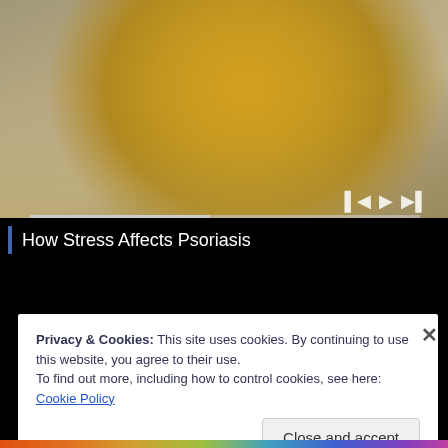[Figure (screenshot): Video player showing a person in a yellow sweater sitting on a couch, with video playback controls (skip back, play/pause, skip forward) and a progress bar visible. Video is paused mid-playback.]
How Stress Affects Psoriasis
Privacy & Cookies: This site uses cookies. By continuing to use this website, you agree to their use.
To find out more, including how to control cookies, see here: Cookie Policy